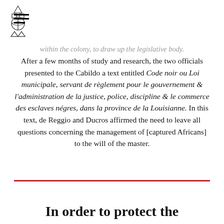[Navigation menu icon] [Institutional logo]
within the colony, to draw up the legislative body. After a few months of study and research, the two officials presented to the Cabildo a text entitled Code noir ou Loi municipale, servant de règlement pour le gouvernement & l'administration de la justice, police, discipline & le commerce des esclaves négres, dans la province de la Louisianne. In this text, de Reggio and Ducros affirmed the need to leave all questions concerning the management of [captured Africans] to the will of the master.
In order to protect the